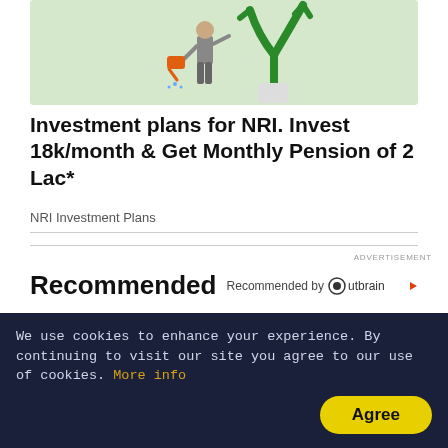[Figure (illustration): Man in suit watering a green arrow/plant growing out of a white bucket, on a light green background — investment growth illustration]
Investment plans for NRI. Invest 18k/month & Get Monthly Pension of 2 Lac*
NRI Investment Plans
ADVERTISEMENT
Recommended
Recommended by Outbrain
[Figure (photo): Two people wearing headsets sitting at computer workstations in an office environment]
We use cookies to enhance your experience. By continuing to visit our site you agree to our use of cookies. More info